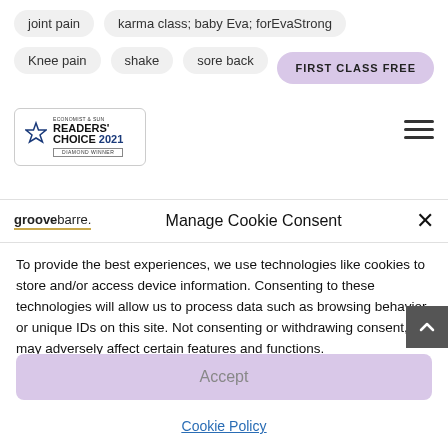joint pain
karma class; baby Eva; forEvaStrong
Knee pain
shake
sore back
[Figure (logo): FIRST CLASS FREE button - pill-shaped lavender button]
[Figure (logo): Economist & Sun Readers' Choice 2021 Diamond Winner badge with star icon]
[Figure (other): Hamburger menu icon with three horizontal lines]
[Figure (logo): groovebarre. logo]
Manage Cookie Consent
To provide the best experiences, we use technologies like cookies to store and/or access device information. Consenting to these technologies will allow us to process data such as browsing behavior or unique IDs on this site. Not consenting or withdrawing consent, may adversely affect certain features and functions.
Accept
Cookie Policy